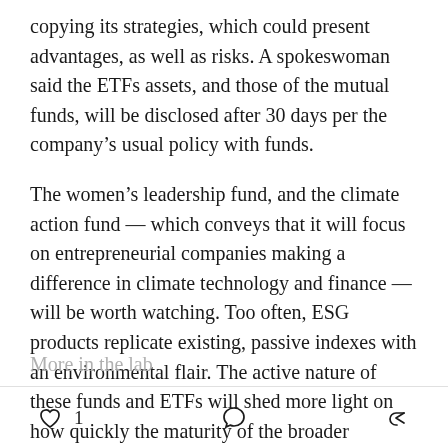copying its strategies, which could present advantages, as well as risks. A spokeswoman said the ETFs assets, and those of the mutual funds, will be disclosed after 30 days per the company's usual policy with funds.
The women's leadership fund, and the climate action fund — which conveys that it will focus on entrepreneurial companies making a difference in climate technology and finance — will be worth watching. Too often, ESG products replicate existing, passive indexes with an environmental flair. The active nature of these funds and ETFs will shed more light on how quickly the maturity of the broader category develops.
♡ 1  [comment icon]  [share icon]